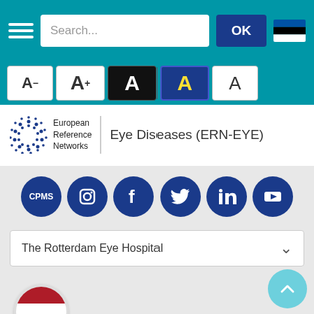[Figure (screenshot): Navigation bar with hamburger menu, search box, OK button, and Estonian flag]
[Figure (screenshot): Font size control buttons: A- A+ A (black bg) A (blue bg) A]
[Figure (logo): European Reference Networks ERN-EYE logo with text 'Eye Diseases (ERN-EYE)']
[Figure (infographic): Social media icons: CPMS, Instagram, Facebook, Twitter, LinkedIn, YouTube]
The Rotterdam Eye Hospital
[Figure (illustration): Netherlands flag circle (red, white, blue horizontal stripes)]
Full member
The Rotterdam Eye Hospital
NETHERLANDS